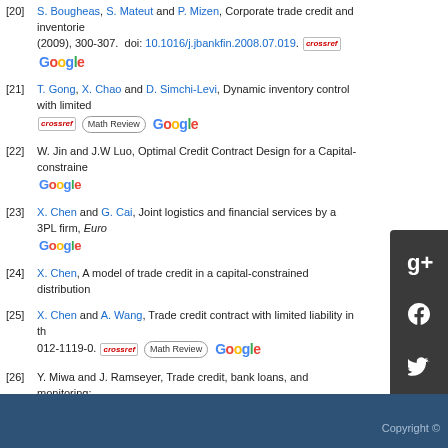[20] S. Bougheas, S. Mateut and P. Mizen, Corporate trade credit and inventories (2009), 300-307. doi: 10.1016/j.jbankfin.2008.07.019.
[21] T. Gong, X. Chao and D. Simchi-Levi, Dynamic inventory control with limited
[22] W. Jin and J.W Luo, Optimal Credit Contract Design for a Capital-constrained
[23] X. Chen and G. Cai, Joint logistics and financial services by a 3PL firm, Euro
[24] X. Chen, A model of trade credit in a capital-constrained distribution
[25] X. Chen and A. Wang, Trade credit contract with limited liability in th 012-1119-0.
[26] Y. Miwa and J. Ramseyer, Trade credit, bank loans, and monitoring:
[27] Y. Zhou, Z. Wen and X. Wu, A single-period inventory and payment doi: 10.1016/j.cie.2015.08.003.
show all references
Copyright ©